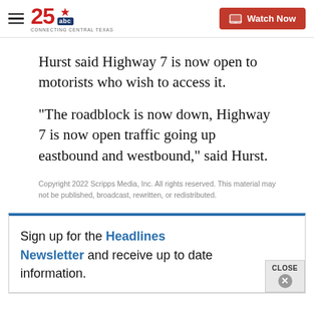25 ABC Connecting Central Texas — Watch Now
Hurst said Highway 7 is now open to motorists who wish to access it.
“The roadblock is now down, Highway 7 is now open traffic going up eastbound and westbound,” said Hurst.
Copyright 2022 Scripps Media, Inc. All rights reserved. This material may not be published, broadcast, rewritten, or redistributed.
Sign up for the Headlines Newsletter and receive up to date information.